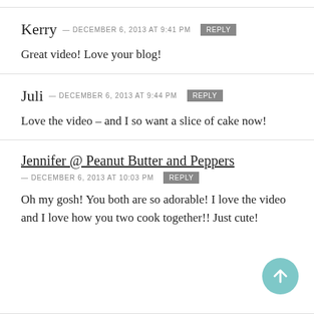Kerry — DECEMBER 6, 2013 at 9:41 PM  REPLY
Great video! Love your blog!
Juli — DECEMBER 6, 2013 at 9:44 PM  REPLY
Love the video – and I so want a slice of cake now!
Jennifer @ Peanut Butter and Peppers — DECEMBER 6, 2013 at 10:03 PM  REPLY
Oh my gosh!  You both are so adorable!  I love the video and I love how you two cook together!!  Just cute!